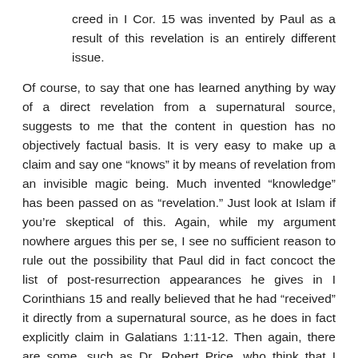creed in I Cor. 15 was invented by Paul as a result of this revelation is an entirely different issue.
Of course, to say that one has learned anything by way of a direct revelation from a supernatural source, suggests to me that the content in question has no objectively factual basis. It is very easy to make up a claim and say one "knows" it by means of revelation from an invisible magic being. Much invented "knowledge" has been passed on as "revelation." Just look at Islam if you're skeptical of this. Again, while my argument nowhere argues this per se, I see no sufficient reason to rule out the possibility that Paul did in fact concoct the list of post-resurrection appearances he gives in I Corinthians 15 and really believed that he had "received" it directly from a supernatural source, as he does in fact explicitly claim in Galatians 1:11-12. Then again, there are some, such as Dr. Robert Price, who think that I Corinthians 15:3-8 is a post-Pauline interpolation, an insertion by some later Christian copyist trying to give Paul's writings more substantiation.